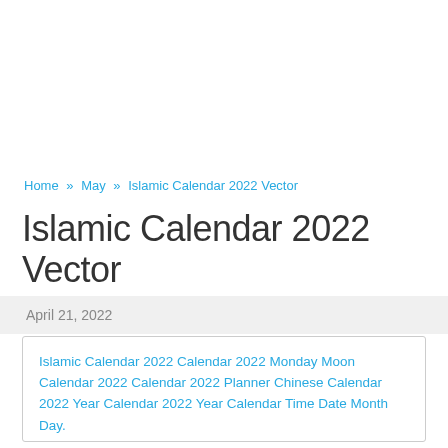Home » May » Islamic Calendar 2022 Vector
Islamic Calendar 2022 Vector
April 21, 2022
Islamic Calendar 2022 Calendar 2022 Monday Moon Calendar 2022 Calendar 2022 Planner Chinese Calendar 2022 Year Calendar 2022 Year Calendar Time Date Month Day.
Printable Yearly Tabloid Size 11X17 Hindu Wall Calendar Template Vector.
Namun Jika Butuh Cetak Kalender Ya Di Percetakanembun.com Aja.